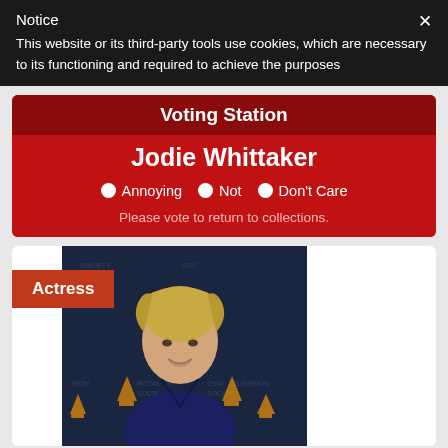Notice
This website or its third-party tools use cookies, which are necessary to its functioning and required to achieve the purposes
Voting Station
Jodie Whittaker
Annoying   Not   Don't Care
Please vote to return to collections.
[Figure (photo): Photo of Jodie Whittaker at Royal Television Society event, blonde woman smiling in dark dress]
Actress